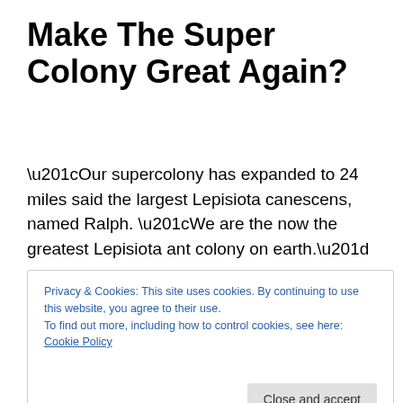Make The Super Colony Great Again?
“Our supercolony has expanded to 24 miles said the largest Lepisiota canescens, named Ralph. “We are the now the greatest Lepisiota ant colony on earth.”
“We can go further east,” said the queen. I know we can.”
“Problem,” said Ralph . “Sand Puppies.”
Privacy & Cookies: This site uses cookies. By continuing to use this website, you agree to their use.
To find out more, including how to control cookies, see here: Cookie Policy
domain. They impeded progress.